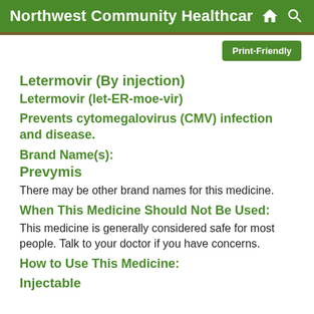Northwest Community Healthcar
Print-Friendly
Letermovir (By injection)
Letermovir (let-ER-moe-vir)
Prevents cytomegalovirus (CMV) infection and disease.
Brand Name(s):
Prevymis
There may be other brand names for this medicine.
When This Medicine Should Not Be Used:
This medicine is generally considered safe for most people. Talk to your doctor if you have concerns.
How to Use This Medicine:
Injectable